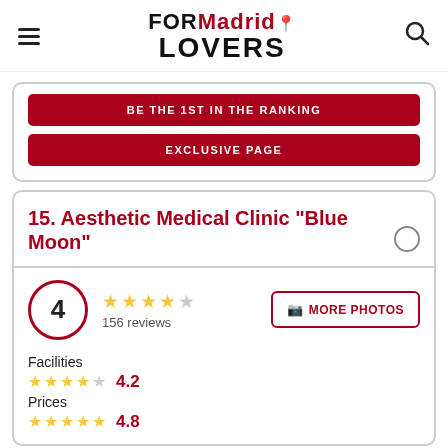FOR Madrid Lovers
BE THE 1ST IN THE RANKING
EXCLUSIVE PAGE
15. Aesthetic Medical Clinic "Blue Moon"
4 stars, 156 reviews
MORE PHOTOS
Facilities 4.2
Prices 4.8